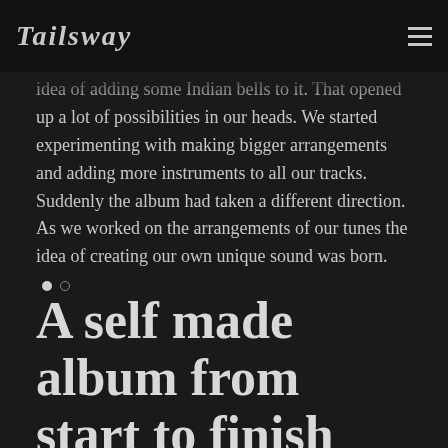TAILSWAY
idea of adding some Indian bells to it. That opened up a lot of possibilities in our heads. We started experimenting with making bigger arrangements and adding more instruments to all our tracks. Suddenly the album had taken a different direction. As we worked on the arrangements of our tunes the idea of creating our own unique sound was born.
A self made album from start to finish
Every step of the process of making Obsidian is done by us. Everything from composing, performing and recording the tunes to arranging, mixing, mastering is done by the